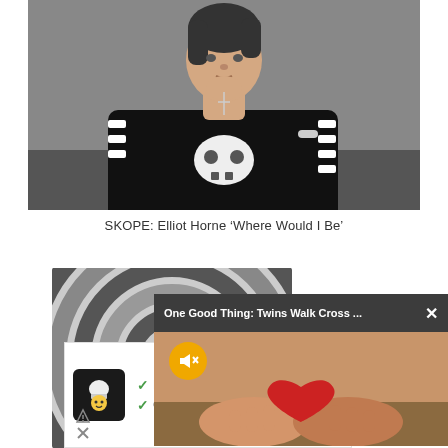[Figure (photo): Young man with dark hair, wearing a black and white striped sweater with a skull graphic, holding his chin thoughtfully against a gray background]
SKOPE: Elliot Horne ‘Where Would I Be’
[Figure (photo): Partial view of a circular striped dark gray/black graphic design]
[Figure (screenshot): Ad box with chef logo, checkmarks for Dine and Curb options, and small icons below]
[Figure (screenshot): Video popup overlay reading 'One Good Thing: Twins Walk Cross ...' with close button X, mute icon, and image of hands holding a red heart]